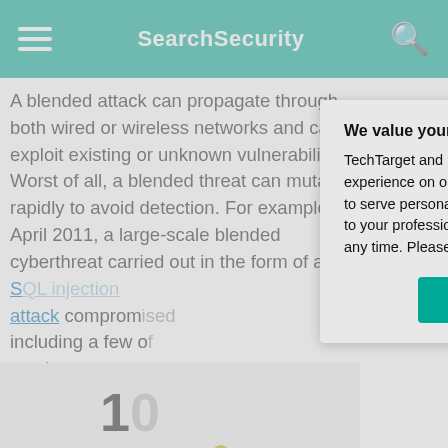SearchSecurity
A blended attack can propagate through both wired or wireless networks and can exploit existing or unknown vulnerabilities. Worst of all, a blended threat can mutate rapidly to avoid detection. For example, in April 2011, a large-scale blended cyberthreat carried out in the form of an SQL injection attack compromised including a few of music store.
[Figure (infographic): Diagram showing types of malware with colored dots: Spyware (yellow), Ransomware (blue), Adware (yellow). Number 10 visible.]
We value your privacy. TechTarget and its partners employ cookies to improve your experience on our site, to analyze traffic and performance, and to serve personalized content and advertising that are relevant to your professional interests. You can manage your settings at any time. Please view our Privacy Policy for more information